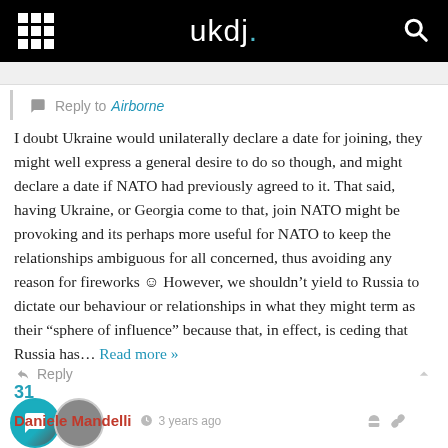ukdj.
Reply to Airborne
I doubt Ukraine would unilaterally declare a date for joining, they might well express a general desire to do so though, and might declare a date if NATO had previously agreed to it. That said, having Ukraine, or Georgia come to that, join NATO might be provoking and its perhaps more useful for NATO to keep the relationships ambiguous for all concerned, thus avoiding any reason for fireworks ☺ However, we shouldn't yield to Russia to dictate our behaviour or relationships in what they might term as their “sphere of influence” because that, in effect, is ceding that Russia has… Read more »
Reply
31
Daniele Mandelli  3 years ago